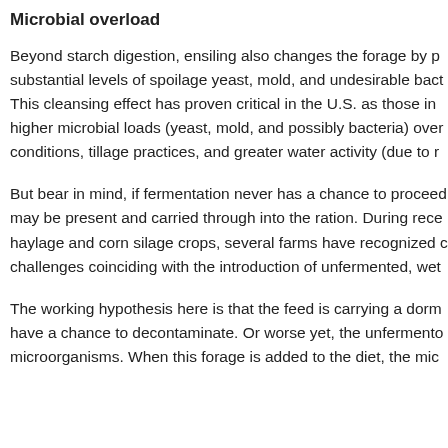Microbial overload
Beyond starch digestion, ensiling also changes the forage by p substantial levels of spoilage yeast, mold, and undesirable bact This cleansing effect has proven critical in the U.S. as those in higher microbial loads (yeast, mold, and possibly bacteria) over conditions, tillage practices, and greater water activity (due to r
But bear in mind, if fermentation never has a chance to proceed may be present and carried through into the ration. During rece haylage and corn silage crops, several farms have recognized c challenges coinciding with the introduction of unfermented, wet
The working hypothesis here is that the feed is carrying a dorm have a chance to decontaminate. Or worse yet, the unfermento microorganisms. When this forage is added to the diet, the mic